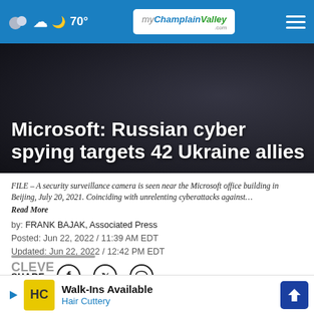70° myChamplainValley.com
[Figure (screenshot): Dark background hero image with headline overlay: Microsoft: Russian cyber spying targets 42 Ukraine allies]
Microsoft: Russian cyber spying targets 42 Ukraine allies
FILE – A security surveillance camera is seen near the Microsoft office building in Beijing, July 20, 2021. Coinciding with unrelenting cyberattacks against…
Read More
by: FRANK BAJAK, Associated Press
Posted: Jun 22, 2022 / 11:39 AM EDT
Updated: Jun 22, 2022 / 12:42 PM EDT
SHARE
[Figure (infographic): Advertisement banner: Walk-Ins Available, Hair Cuttery]
CLEVE